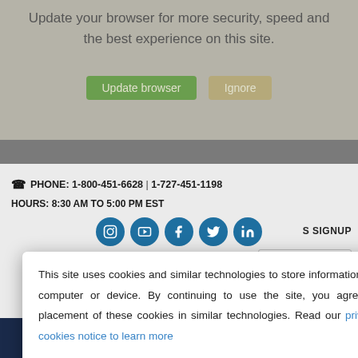Update your browser for more security, speed and the best experience on this site.
[Figure (screenshot): Two buttons: 'Update browser' (green) and 'Ignore' (tan/beige)]
PHONE: 1-800-451-6628 | 1-727-451-1198
HOURS: 8:30 AM TO 5:00 PM EST
[Figure (screenshot): Social media icons: Instagram, YouTube, Facebook, Twitter, LinkedIn — dark blue circles]
S SIGNUP
[Figure (screenshot): Language selector showing EN with US flag and dropdown arrow]
This site uses cookies and similar technologies to store information on your computer or device. By continuing to use the site, you agree to the placement of these cookies in similar technologies. Read our privacy and cookies notice to learn more
Agree